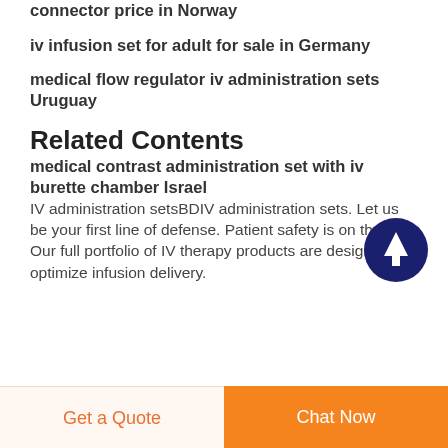connector price in Norway
iv infusion set for adult for sale in Germany
medical flow regulator iv administration sets Uruguay
Related Contents
medical contrast administration set with iv burette chamber Israel
IV administration setsBDIV administration sets. Let us be your first line of defense. Patient safety is on the line. Our full portfolio of IV therapy products are designed to optimize infusion delivery.
[Figure (other): Circular dark navy blue scroll-to-top button with white upward arrow icon]
Get a Quote  |  Chat Now